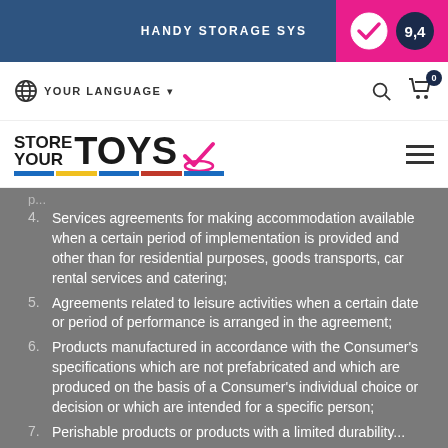HANDY STORAGE SYS... 9,4
4. Services agreements for making accommodation available when a certain period of implementation is provided and other than for residential purposes, goods transports, car rental services and catering;
5. Agreements related to leisure activities when a certain date or period of performance is arranged in the agreement;
6. Products manufactured in accordance with the Consumer's specifications which are not prefabricated and which are produced on the basis of a Consumer's individual choice or decision or which are intended for a specific person;
7. Perishable products or products with a limited durability...